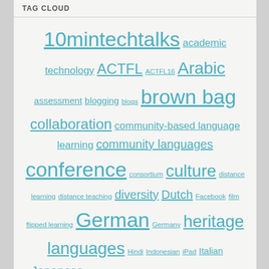TAG CLOUD
10mintechtalks academic technology ACTFL ACTFL16 Arabic assessment blogging blogs brown bag collaboration community-based language learning community languages conference consortium culture distance learning distance teaching diversity Dutch Facebook film flipped learning German Germany heritage languages Hindi Indonesian iPad Italian Japanese kiSwahili language pedagogy linguistic landscape MOOC online education OPI presentations Russian Spanish symposium technology testing video workshop Yale